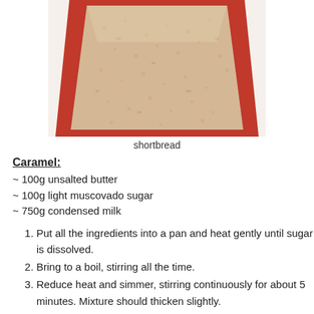[Figure (photo): A red baking tray filled with shortbread dough, viewed from above at a slight angle.]
shortbread
Caramel:
~ 100g unsalted butter
~ 100g light muscovado sugar
~ 750g condensed milk
Put all the ingredients into a pan and heat gently until sugar is dissolved.
Bring to a boil, stirring all the time.
Reduce heat and simmer, stirring continuously for about 5 minutes. Mixture should thicken slightly.
Pour over shortbread.
Note: I found this a little confusing. Low heat, high heat, low heat and so on. It's what I did, but I burnt it. I think my pan was too thin. I knew it was burning because after a stir I had some flecks in the mixture. Those shouldn't be there it should be smooth and clear. It was usable though because I noticed it. Still tastes